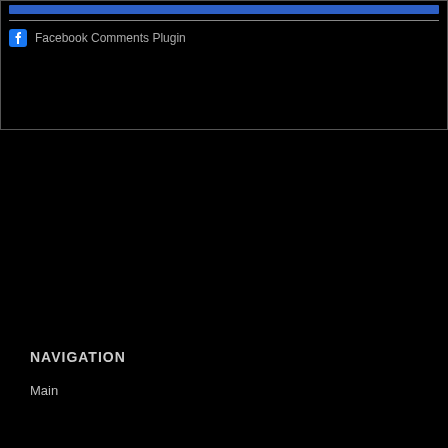[Figure (screenshot): Blue progress/button bar at top of a dark web page comment section]
Facebook Comments Plugin
NAVIGATION
Main